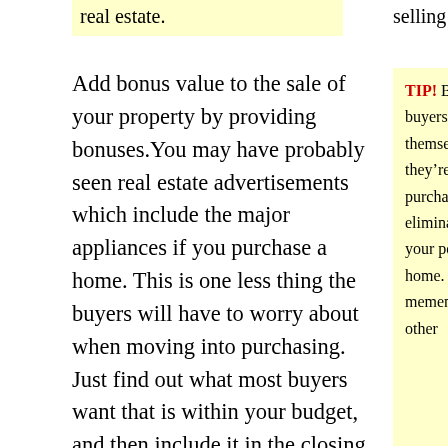real estate.
selling price.
Add bonus value to the sale of your property by providing bonuses.You may have probably seen real estate advertisements which include the major appliances if you purchase a home. This is one less thing the buyers will have to worry about when moving into purchasing. Just find out what most buyers want that is within your budget, and then include it in the closing deal. This will help you sell
TIP! Because potential buyers like to envision themselves living in a house they’re thinking about purchasing, you should try to eliminate all visible signs of your personal imprint on the home. Remove and store mementos, family photos, and other